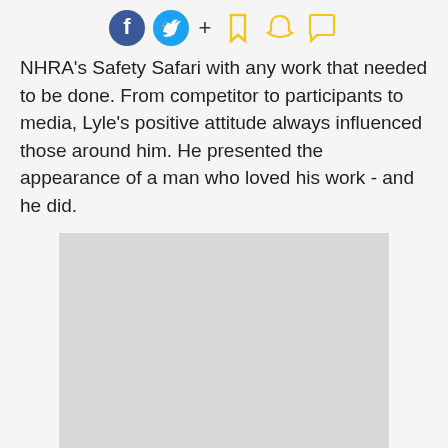[Figure (infographic): Social media sharing icons: Facebook (blue circle), Twitter (cyan circle), plus sign, bookmark icon (yellow outline), Snapchat ghost (yellow outline), speech bubble (yellow outline)]
NHRA's Safety Safari with any work that needed to be done. From competitor to participants to media, Lyle's positive attitude always influenced those around him. He presented the appearance of a man who loved his work - and he did.
[Figure (photo): Placeholder image (light gray rectangle)]
When not engaged in running the start line, and